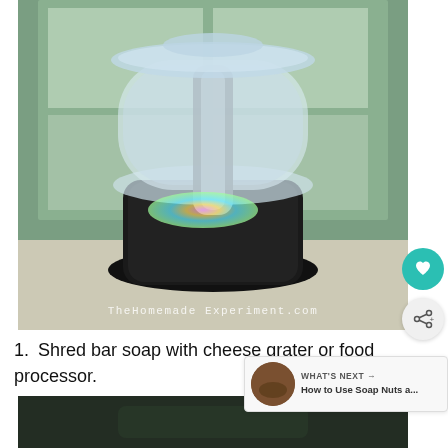[Figure (photo): A food processor with a clear plastic bowl and lid sitting on a black base, photographed near a window with green foliage outside. A watermark reads 'TheHomemade Experiment.com'.]
Shred bar soap with cheese grater or food processor.
[Figure (photo): Partial view of a second food processor photo, dark background, bottom of page.]